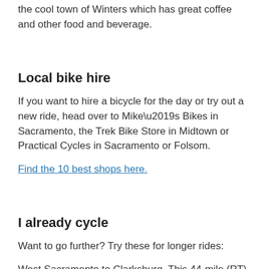Quiet roads with orchards and farms will get you into the cool town of Winters which has great coffee and other food and beverage.
Local bike hire
If you want to hire a bicycle for the day or try out a new ride, head over to Mike’s Bikes in Sacramento, the Trek Bike Store in Midtown or Practical Cycles in Sacramento or Folsom.
Find the 10 best shops here.
I already cycle
Want to go further? Try these for longer rides:
West Sacramento to Clarksburg. This 44-mile (RT)